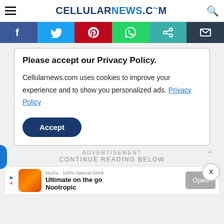CELLULARNEWS.COM
[Figure (screenshot): Social media share bar with Facebook, Twitter, Pinterest, WhatsApp, copy link, and email icons]
Please accept our Privacy Policy.
Cellularnews.com uses cookies to improve your experience and to show you personalized ads. Privacy Policy
Accept
ADVERTISEMENT
CONTINUE READING BELOW
[Figure (screenshot): Ad banner for Nu2ra - 100% Natural Drink: Ultimate on the go Nootropic, with Open button]